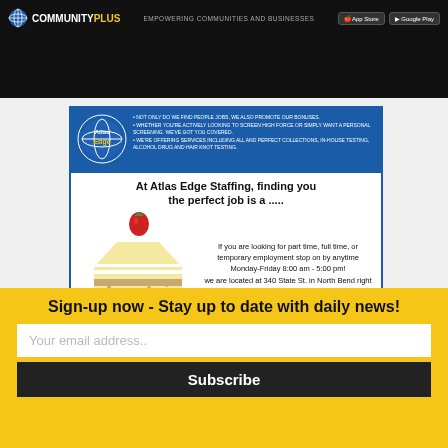COMMUNITY PLUS — EMPOWERING COMMUNITIES AND BUSINESSES
[Figure (illustration): Atlas Edge Staffing advertisement. Blue header with globe logo and bullet points. Main body with headline 'At Atlas Edge Staffing, finding you the perfect job is a .....' with a cake illustration and text about part time, full time, temporary employment at 340 State St., North Bend. Blue footer with WALK-INS WELCOME and contact info.]
[Figure (photo): Landscape photo showing forest road with pine trees and rocky mountains in background.]
Sign-up now - Stay up to date with daily news!
Your email address..
Subscribe